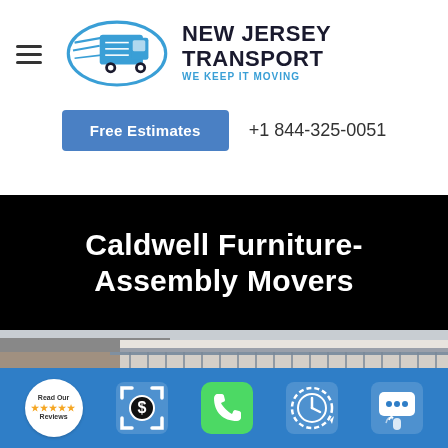[Figure (logo): New Jersey Transport logo with truck icon and text 'NEW JERSEY TRANSPORT – WE KEEP IT MOVING']
Free Estimates
+1 844-325-0051
Caldwell Furniture-Assembly Movers
[Figure (photo): Exterior photo of a building with decorative iron balcony railing]
[Figure (infographic): Bottom toolbar with icons: Read Our Reviews badge with stars, dollar sign estimate icon, phone call icon, clock/schedule icon, chat/message icon]